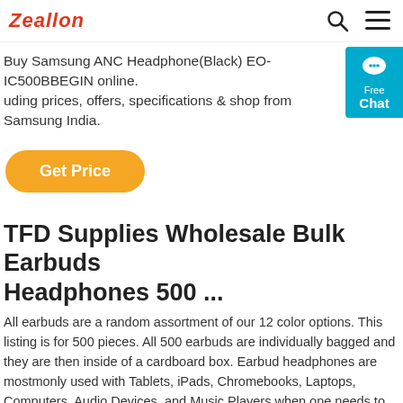Zeallon
Buy Samsung ANC Headphone(Black) EO-IC500BBEGIN online. uding prices, offers, specifications & shop from Samsung India.
Get Price
TFD Supplies Wholesale Bulk Earbuds Headphones 500 ...
All earbuds are a random assortment of our 12 color options. This listing is for 500 pieces. All 500 earbuds are individually bagged and they are then inside of a cardboard box. Earbud headphones are mostmonly used with Tablets, iPads, Chromebooks, Laptops, Computers, Audio Devices, and Music Players when one needs to listen to audio.
Get Price